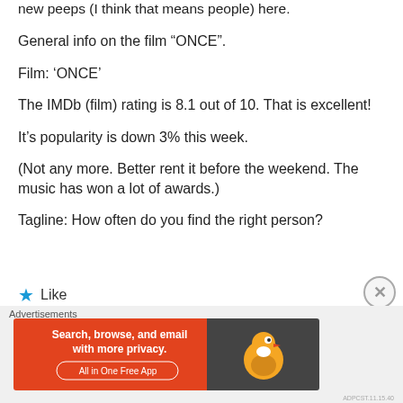new peeps (I think that means people) here.
General info on the film “ONCE”.
Film: ‘ONCE’
The IMDb (film) rating is 8.1 out of 10. That is excellent!
It’s popularity is down 3% this week.
(Not any more. Better rent it before the weekend. The music has won a lot of awards.)
Tagline: How often do you find the right person?
★ Like
Advertisements
[Figure (infographic): DuckDuckGo advertisement banner: orange background with text 'Search, browse, and email with more privacy. All in One Free App' and DuckDuckGo duck logo on dark right panel.]